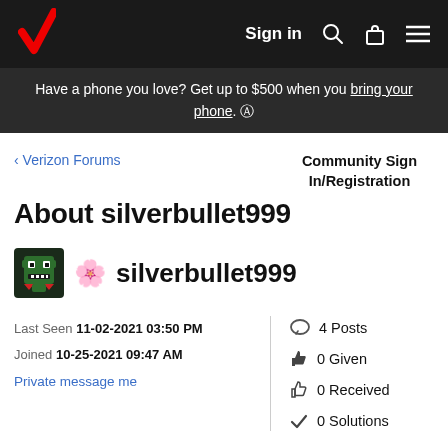Verizon – Sign in
Have a phone you love? Get up to $500 when you bring your phone. ⓘ
< Verizon Forums
Community Sign In/Registration
About silverbullet999
silverbullet999
Last Seen 11-02-2021 03:50 PM
Joined 10-25-2021 09:47 AM
Private message me
4 Posts
0 Given
0 Received
0 Solutions